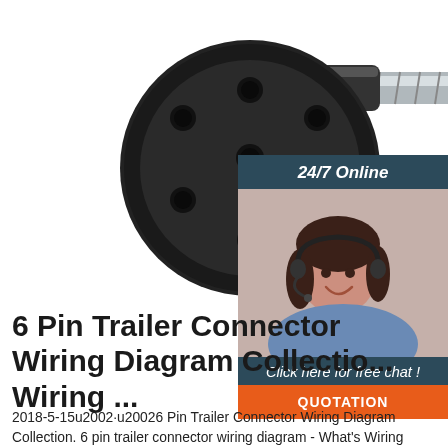[Figure (photo): Photo of a 6-pin trailer connector plug with black plastic housing and metal barrel with ring, on white background]
[Figure (photo): Customer service agent woman with headset smiling, with '24/7 Online' banner, 'Click here for free chat!' text, and orange 'QUOTATION' button]
6 Pin Trailer Connector Wiring Diagram Collection Wiring ...
2018-5-15u2002·u20026 Pin Trailer Connector Wiring Diagram Collection. 6 pin trailer connector wiring diagram - What's Wiring Diagram? A wiring diagram is a type of schematic which makes use of abstract photographic signs to show all the interconnections of components in a system.